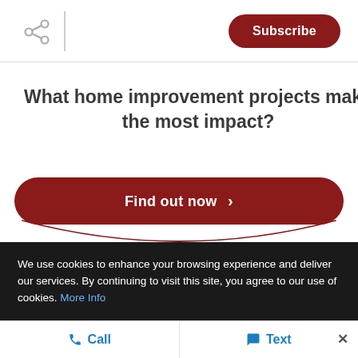Subscribe
What home improvement projects make the most impact?
Find out now >
We respect your inbox. We only send interesting and relevant emails.
We use cookies to enhance your browsing experience and deliver our services. By continuing to visit this site, you agree to our use of cookies. More Info
Call   Text